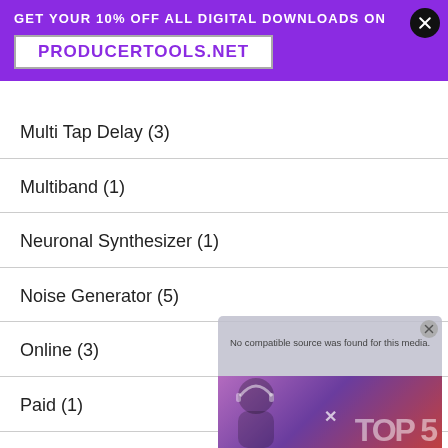GET YOUR 10% OFF ALL DIGITAL DOWNLOADS ON PRODUCERTOOLS.NET
Multi Tap Delay (3)
Multiband (1)
Neuronal Synthesizer (1)
Noise Generator (5)
Online (3)
Paid (1)
Parametric EQ (3)
Passive EQ (1)
[Figure (screenshot): Video overlay with 'No compatible source was found for this media.' message and TOP 5 branding with person wearing headphones]